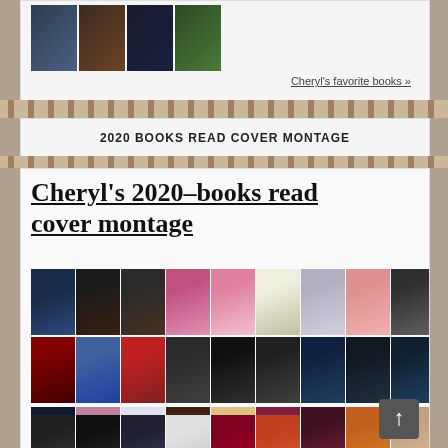[Figure (illustration): Strip of four book cover thumbnails at the top of the page]
Cheryl's favorite books »
2020 BOOKS READ COVER MONTAGE
Cheryl's 2020-books read cover montage
[Figure (illustration): Grid of book cover images for 2020 books read cover montage, showing rows of colorful book covers including: Surrender Dead, Beyond Headlines, The Last to See Her, Pretty Little Deadly Wife, Little Deadly Secrets, Life for Life, Eye for Eye, To Tell the Truth, The Third Hurst, Don't Look For Me, Night Swim, The First to Lie, Emma in the Night, Six's Secret, A Million Little Lies, Hurry Home, The Golden Girl, Merci, The Wife Who Knew Too Much, The Pineboy Vendetta, Barbara Delinsky, Stranger in the, This is How, (silent), My Sister, The (partial)]